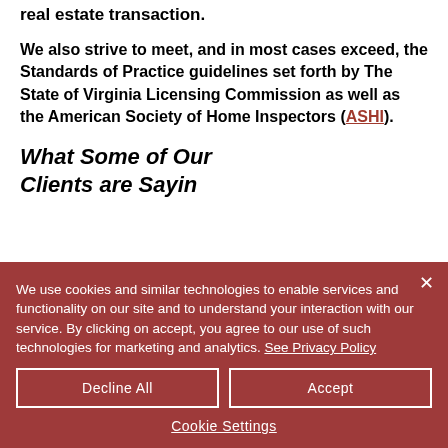real estate transaction.
We also strive to meet, and in most cases exceed, the Standards of Practice guidelines set forth by The State of Virginia Licensing Commission as well as the American Society of Home Inspectors (ASHI).
What Some of Our Clients are Sayin
We use cookies and similar technologies to enable services and functionality on our site and to understand your interaction with our service. By clicking on accept, you agree to our use of such technologies for marketing and analytics. See Privacy Policy
Decline All
Accept
Cookie Settings